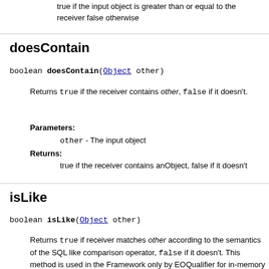true if the input object is greater than or equal to the receiver false otherwise
doesContain
boolean doesContain(Object other)
Returns true if the receiver contains other, false if it doesn't.
Parameters:
other - The input object
Returns:
true if the receiver contains anObject, false if it doesn't
isLike
boolean isLike(Object other)
Returns true if receiver matches other according to the semantics of the SQL like comparison operator, false if it doesn't. This method is used in the Framework only by EOQualifier for in-memory evaluation.